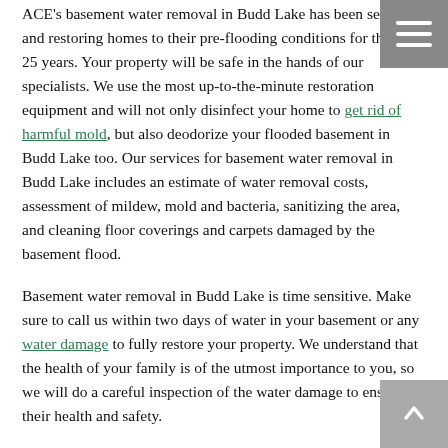ACE's basement water removal in Budd Lake has been serving and restoring homes to their pre-flooding conditions for the past 25 years. Your property will be safe in the hands of our specialists. We use the most up-to-the-minute restoration equipment and will not only disinfect your home to get rid of harmful mold, but also deodorize your flooded basement in Budd Lake too. Our services for basement water removal in Budd Lake includes an estimate of water removal costs, assessment of mildew, mold and bacteria, sanitizing the area, and cleaning floor coverings and carpets damaged by the basement flood.
Basement water removal in Budd Lake is time sensitive. Make sure to call us within two days of water in your basement or any water damage to fully restore your property. We understand that the health of your family is of the utmost importance to you, so we will do a careful inspection of the water damage to ensure their health and safety.